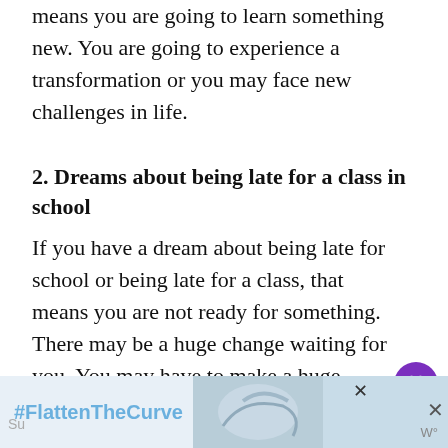means you are going to learn something new. You are going to experience a transformation or you may face new challenges in life.
2. Dreams about being late for a class in school
If you have a dream about being late for school or being late for a class, that means you are not ready for something. There may be a huge change waiting for you. You may have to make a huge decision but you are not prepared for it.
[Figure (other): Advertisement banner with #FlattenTheCurve hashtag and hand washing image]